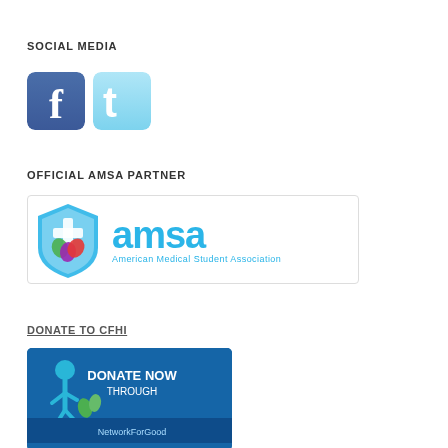SOCIAL MEDIA
[Figure (logo): Facebook and Twitter social media icons]
OFFICIAL AMSA PARTNER
[Figure (logo): AMSA - American Medical Student Association logo banner]
DONATE TO CFHI
[Figure (logo): Donate Now Through NetworkForGood button banner]